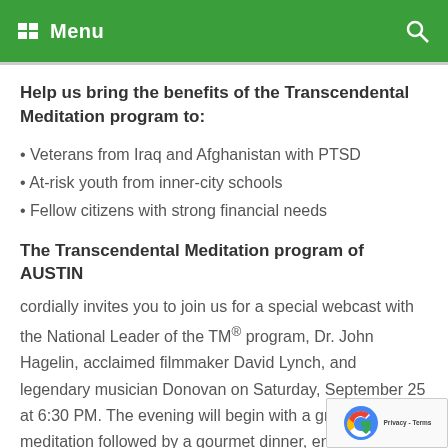Menu
Help us bring the benefits of the Transcendental Meditation program to:
• Veterans from Iraq and Afghanistan with PTSD
• At-risk youth from inner-city schools
• Fellow citizens with strong financial needs
The Transcendental Meditation program of AUSTIN
cordially invites you to join us for a special webcast with the National Leader of the TM® program, Dr. John Hagelin, acclaimed filmmaker David Lynch, and legendary musician Donovan on Saturday, September 25 at 6:30 PM. The evening will begin with a group meditation followed by a gourmet dinner, entertainment, a silent auction, and profound knowledge. This gala event will take place at t